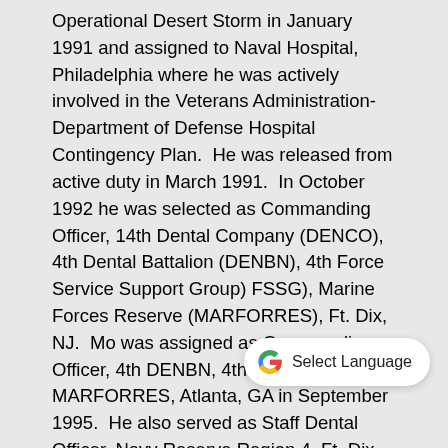Operational Desert Storm in January 1991 and assigned to Naval Hospital, Philadelphia where he was actively involved in the Veterans Administration-Department of Defense Hospital Contingency Plan.  He was released from active duty in March 1991.  In October 1992 he was selected as Commanding Officer, 14th Dental Company (DENCO), 4th Dental Battalion (DENBN), 4th Force Service Support Group) FSSG), Marine Forces Reserve (MARFORRES), Ft. Dix, NJ.  Mo was assigned as Commanding Officer, 4th DENBN, 4th FSSG, MARFORRES, Atlanta, GA in September 1995.  He also served as Staff Dental Officer, Navy Reserve Region 4, Ft. Dix, NJ and Navy Reserve Region 16, Minneapolis, MN.  On 1 February 2000 he was promoted to the rank of Rear Admiral (Lower Half) and assigned as Fleet Dental Officer, US Pacific Fleet with additional duty MARFORRES Force Dental Officer.  On 1 November 2001 he was promoted to the grade of Rear Admiral (Upper Half) and was assigned as Deputy Director of the Dental Corps, Bureau of Medicine and Surgery and Force Dental Officer, Commander Na[val Air] Force.  He retired on 1 February 2005 after almost 35 years of naval service.  His military awards include: the Legion of Merit
[Figure (screenshot): Google 'Select Language' button overlay in bottom right area of page]